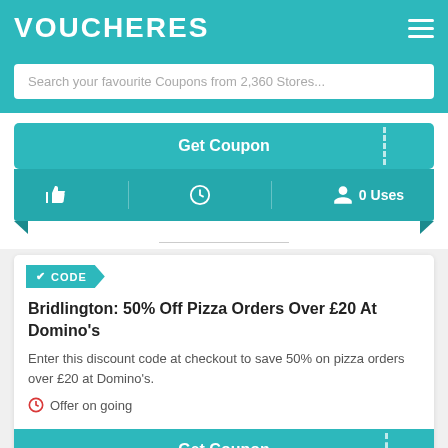VOUCHERES
Search your favourite Coupons from 2,360 Stores...
[Figure (screenshot): Get Coupon button (teal) with dashed right section]
0 Uses
CODE
Bridlington: 50% Off Pizza Orders Over £20 At Domino's
Enter this discount code at checkout to save 50% on pizza orders over £20 at Domino's.
Offer on going
[Figure (screenshot): Get Coupon button (teal) partial view at bottom]